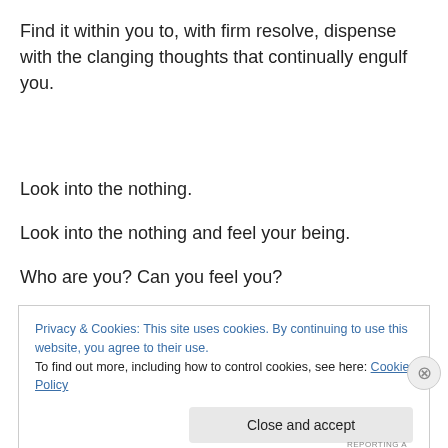Find it within you to, with firm resolve, dispense with the clanging thoughts that continually engulf you.
Look into the nothing.
Look into the nothing and feel your being.
Who are you? Can you feel you?
Privacy & Cookies: This site uses cookies. By continuing to use this website, you agree to their use.
To find out more, including how to control cookies, see here: Cookie Policy
Close and accept